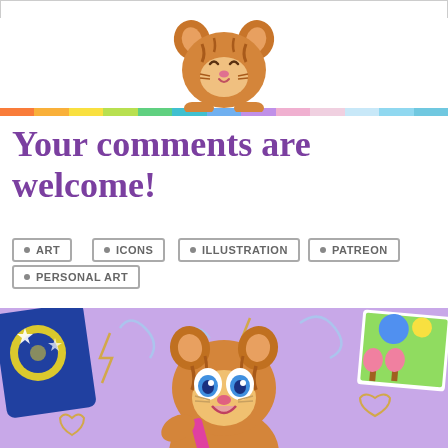[Figure (illustration): Cute cartoon tiger/cat mascot peeking over a rainbow colored horizontal bar]
Your comments are welcome!
• ART
• ICONS
• ILLUSTRATION
• PATREON
• PERSONAL ART
[Figure (illustration): Cute cartoon tiger character holding crayons on a purple background with drawings and doodles]